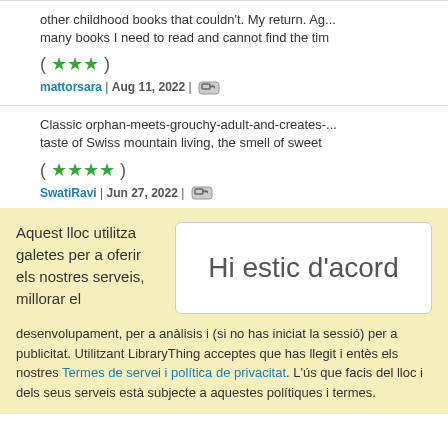other childhood books that couldn't... many books I need to read and cannot find the tim
( ★★★ )
mattorsara | Aug 11, 2022 | 🔗
Classic orphan-meets-grouchy-adult-and-creates-... taste of Swiss mountain living, the smell of sweet
( ★★★★ )
SwatiRavi | Jun 27, 2022 | 🔗
Aquest lloc utilitza galetes per a oferir els nostres serveis, millorar el
Hi estic d'acord
desenvolupament, per a anàlisis i (si no has iniciat la sessió) per a publicitat. Utilitzant LibraryThing acceptes que has llegit i entès els nostres Termes de servei i política de privacitat. L'ús que facis del lloc i dels seus serveis està subjecte a aquestes polítiques i termes.